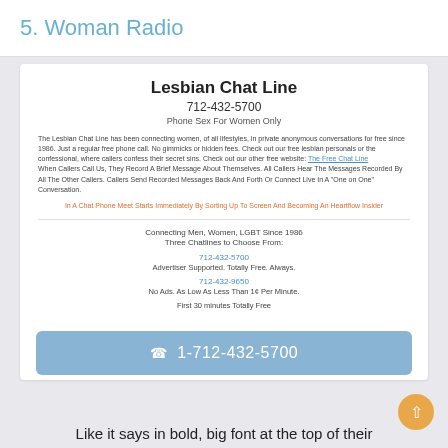5. Woman Radio
Lesbian Chat Line
712-432-5700
Phone Sex For Women Only
The Lesbian Chat Line has been connecting women, of all lifestyles, in private anonymous conversations for free since 1986. Just a regular free phone call. No gimmicks or hidden fees. Check out our free lesbian personals or the confessional, where callers confess their secret sins. Check out our other free website: The Free Chat Line
When Callers Call Us, They Record A Brief Message About Themselves. All Callers Hear The Messages Recorded By All The Other Callers. Callers Send Recorded Messages Back And Forth Or Connect Live In A "One on One" Conversation.
Connecting Men, Women, LGBT Since 1986
Three Chatlines to Choose From:
712-432-5700
Advertiser Supported. Totally Free. Always.
712-432-9650
No Ads. As Low As Less Than 1¢ Per Minute.
First 30 minutes Totally Free
☎  1-712-432-5700
Like it says in bold, big font at the top of their